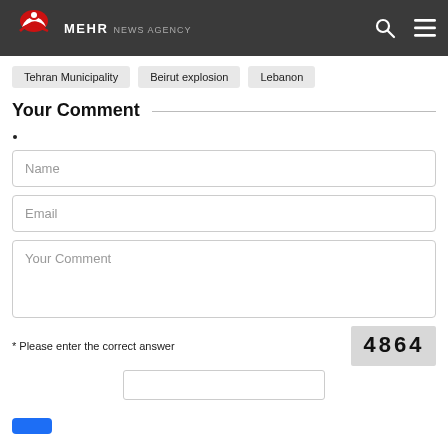[Figure (logo): Mehr News Agency logo with red swoosh graphic and white text reading MEHR NEWS AGENCY on dark background, with search and menu icons on the right]
Tehran Municipality
Beirut explosion
Lebanon
Your Comment
Name
Email
Your Comment
* Please enter the correct answer
[Figure (other): CAPTCHA image showing the number 4864 in bold black text on a light grey background]